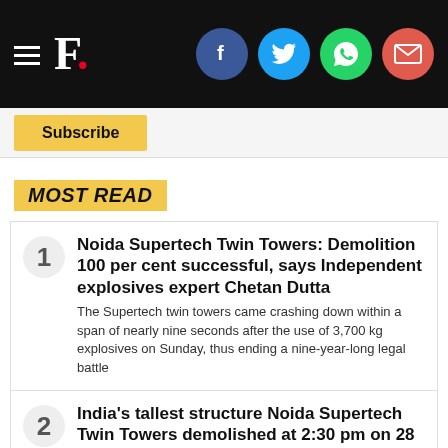F. [Forbes India header with social icons]
Subscribe
MOST READ
1. Noida Supertech Twin Towers: Demolition 100 per cent successful, says Independent explosives expert Chetan Dutta — The Supertech twin towers came crashing down within a span of nearly nine seconds after the use of 3,700 kg explosives on Sunday, thus ending a nine-year-long legal battle
2. India's tallest structure Noida Supertech Twin Towers demolished at 2:30 pm on 28 August: All you need to know — Mumbai-based company Edifice Engineering has been tasked with demolishing Supertech's Twin Towers in Noida